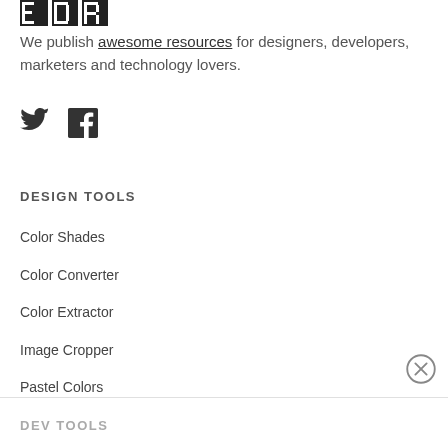[Figure (logo): EDR logo text in bold black letters]
We publish awesome resources for designers, developers, marketers and technology lovers.
[Figure (illustration): Twitter bird icon and Facebook circle icon in dark gray]
DESIGN TOOLS
Color Shades
Color Converter
Color Extractor
Image Cropper
Pastel Colors
DEV TOOLS